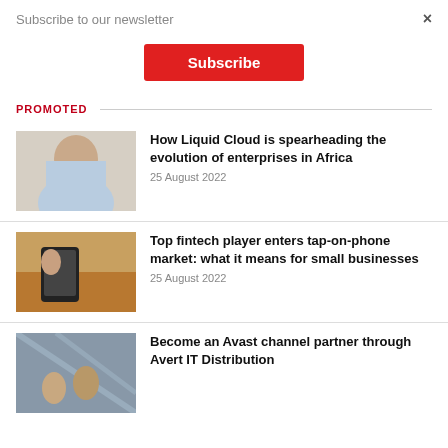Subscribe to our newsletter
×
Subscribe
PROMOTED
[Figure (photo): Portrait of a man in a business shirt]
How Liquid Cloud is spearheading the evolution of enterprises in Africa
25 August 2022
[Figure (photo): Person tapping a phone on a payment terminal over food]
Top fintech player enters tap-on-phone market: what it means for small businesses
25 August 2022
[Figure (photo): Two people in a building with glass ceiling]
Become an Avast channel partner through Avert IT Distribution